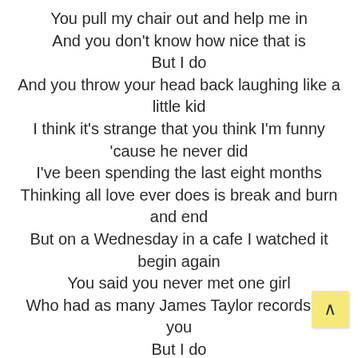You pull my chair out and help me in
And you don't know how nice that is
But I do
And you throw your head back laughing like a little kid
I think it's strange that you think I'm funny
'cause he never did
I've been spending the last eight months
Thinking all love ever does is break and burn and end
But on a Wednesday in a cafe I watched it begin again
You said you never met one girl
Who had as many James Taylor records as you
But I do
We tell stories and you don't know why
I'm coming off a little shy
But I do
But you throw your head back laughing like a little kid